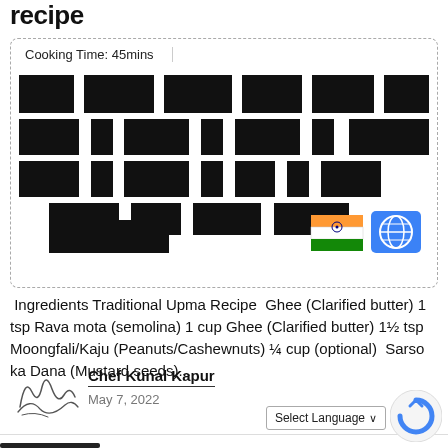recipe
Cooking Time: 45mins
[Figure (photo): Redacted image of Upma dish with black overlay blocks covering text/labels, with Indian flag and globe icon in bottom right corner of card]
Ingredients Traditional Upma Recipe  Ghee (Clarified butter) 1 tsp Rava mota (semolina) 1 cup Ghee (Clarified butter) 1½ tsp Moongfali/Kaju (Peanuts/Cashewnuts) ¼ cup (optional)  Sarso ka Dana (Mustard seeds)...
Chef Kunal Kapur
May 7, 2022